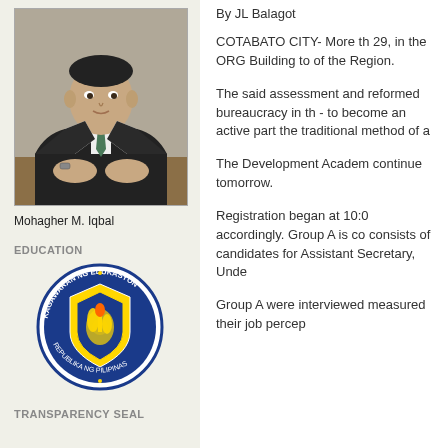[Figure (photo): Portrait photo of Mohagher M. Iqbal, a man in dark suit with tie, hands clasped on desk]
Mohagher M. Iqbal
EDUCATION
[Figure (logo): Seal of Kagawaran ng Edukasyon (Department of Education), Republika ng Pilipinas - circular blue and gold seal]
TRANSPARENCY SEAL
[Figure (logo): Philippine Transparency Seal - partial view of circular seal]
By JL Balagot
COTABATO CITY- More th 29, in the ORG Building to of the Region.
The said assessment and reformed bureaucracy in th - to become an active part the traditional method of a
The Development Academ continue tomorrow.
Registration began at 10:0 accordingly. Group A is co consists of candidates for Assistant Secretary, Unde
Group A were interviewed measured their job percep